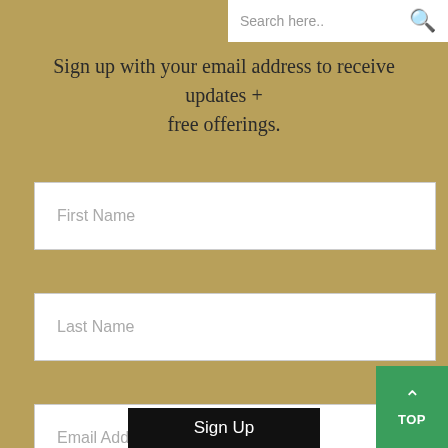Search here..
Sign up with your email address to receive updates + free offerings.
First Name
Last Name
Email Address
TOP
Sign Up